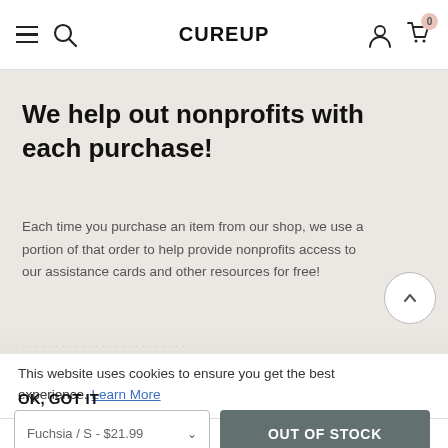CUREUP
We help out nonprofits with each purchase!
Each time you purchase an item from our shop, we use a portion of that order to help provide nonprofits access to our assistance cards and other resources for free!
This website uses cookies to ensure you get the best experience. Learn More
OK, GOT IT
Fuchsia / S - $21.99
OUT OF STOCK